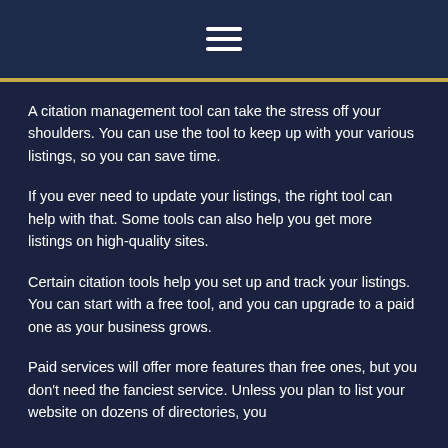≡
A citation management tool can take the stress off your shoulders. You can use the tool to keep up with your various listings, so you can save time.
If you ever need to update your listings, the right tool can help with that. Some tools can also help you get more listings on high-quality sites.
Certain citation tools help you set up and track your listings. You can start with a free tool, and you can upgrade to a paid one as your business grows.
Paid services will offer more features than free ones, but you don't need the fanciest service. Unless you plan to list your website on dozens of directories, you